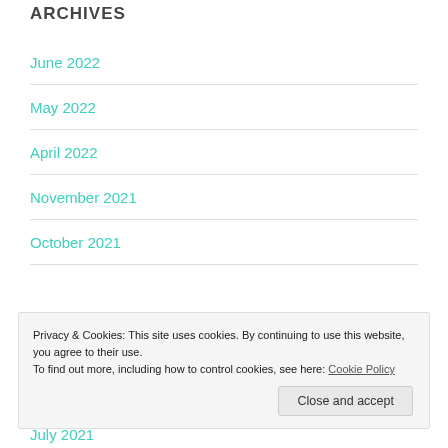ARCHIVES
June 2022
May 2022
April 2022
November 2021
October 2021
Privacy & Cookies: This site uses cookies. By continuing to use this website, you agree to their use.
To find out more, including how to control cookies, see here: Cookie Policy
Close and accept
July 2021